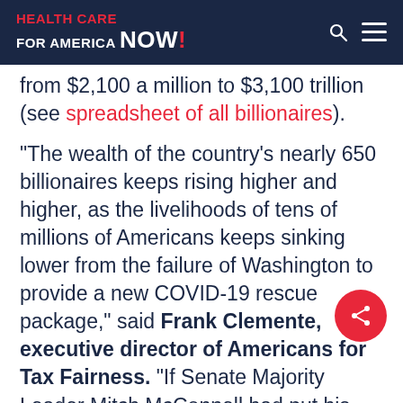HEALTH CARE FOR AMERICA NOW!
from $2,100 a million to $3,100 trillion (see spreadsheet of all billionaires).
“The wealth of the country’s nearly 650 billionaires keeps rising higher and higher, as the livelihoods of tens of millions of Americans keeps sinking lower from the failure of Washington to provide a new COVID-19 rescue package,” said Frank Clemente, executive director of Americans for Tax Fairness. “If Senate Majority Leader Mitch McConnell had put his energy into rushing through Congress a major coronavirus financial aid package